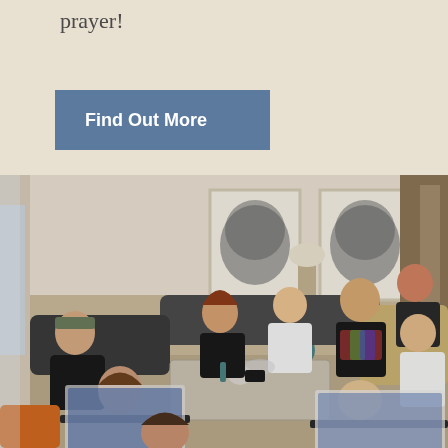prayer!
Find Out More
[Figure (photo): A group of approximately 10 people gathered in a living room, sitting on sofas and chairs around a coffee table, some with laptops open, appearing to be in a meeting or group discussion. The room has modern decor with abstract wall art.]